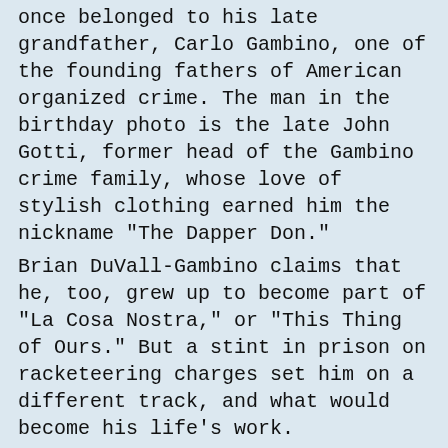once belonged to his late grandfather, Carlo Gambino, one of the founding fathers of American organized crime. The man in the birthday photo is the late John Gotti, former head of the Gambino crime family, whose love of stylish clothing earned him the nickname "The Dapper Don."
Brian DuVall-Gambino claims that he, too, grew up to become part of "La Cosa Nostra," or "This Thing of Ours." But a stint in prison on racketeering charges set him on a different track, and what would become his life's work.
Today, Duvall-Gambino is a motivational speaker, minister, and activist against human trafficking. He now lives in Stark County and works as motivational speaker and leadership coach.
Born in St. Croix, Virgin Islands, he grew up in the Brooklyn neighborhood of Bensonhurst. He describes his child as cloistered, as in no outsiders. Duvall-Gambino's mother is an Israeli. As a result, he had a bar mitzvah and a church confirmation.